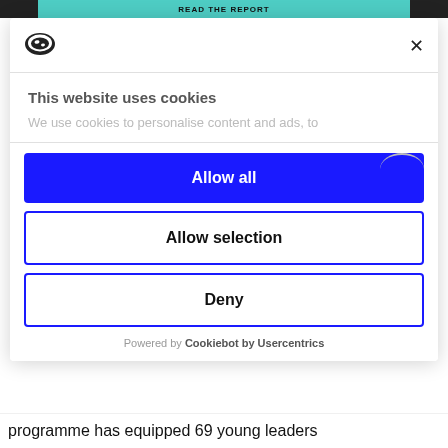[Figure (screenshot): Top banner strip with dark left/right ends and teal center reading 'READ THE REPORT']
[Figure (logo): Cookiebot shield/cookie logo in black and white oval shape]
This website uses cookies
We use cookies to personalise content and ads, to
Allow all
Allow selection
Deny
Powered by Cookiebot by Usercentrics
programme has equipped 69 young leaders